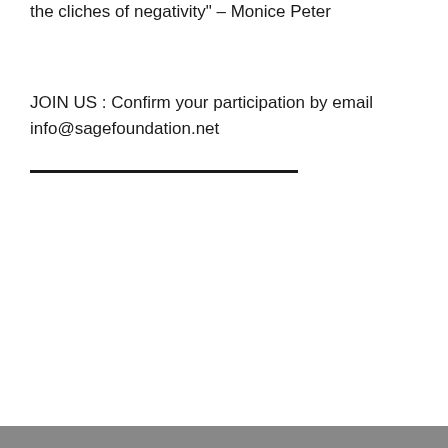the cliches of negativity" – Monice Peter
JOIN US : Confirm your participation by email info@sagefoundation.net